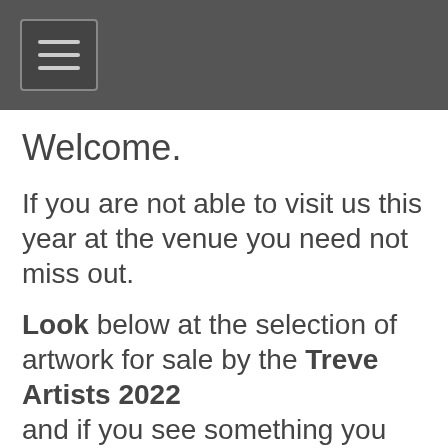☰
Welcome.
If you are not able to visit us this year at the venue you need not miss out.
Look below at the selection of artwork for sale by the Treve Artists 2022 and if you see something you would like to purchase follow the steps below. All artwork is available for sale.
Roll cursor over images to see further